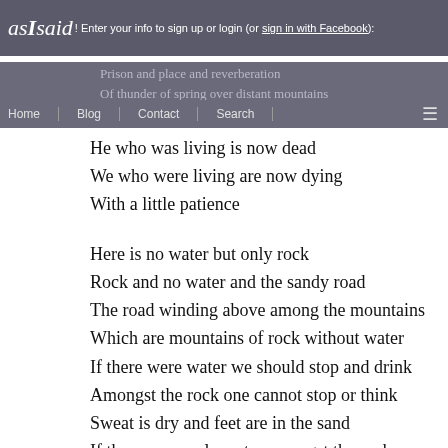asIsaid! Enter your info to sign up or login (or sign in with Facebook):
Prison and place and reverberation
Of thunder of spring over distant mountains
Home  Blog  Contact  Search
He who was living is now dead
We who were living are now dying
With a little patience

Here is no water but only rock
Rock and no water and the sandy road
The road winding above among the mountains
Which are mountains of rock without water
If there were water we should stop and drink
Amongst the rock one cannot stop or think
Sweat is dry and feet are in the sand
If there were only water amongst the rock
Dead mountain mouth of carious teeth that cannot spit
Here one can neither stand nor lie nor sit